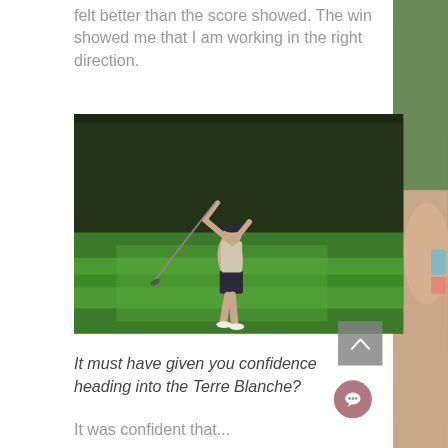felt better than the score showed. The win showed me that I am working in the right direction.
[Figure (photo): Female golfer mid-swing on a golf course with lush green grass and trees in the background, taken in warm evening light]
It must have given you confidence heading into the Terre Blanche?
It was confident that...